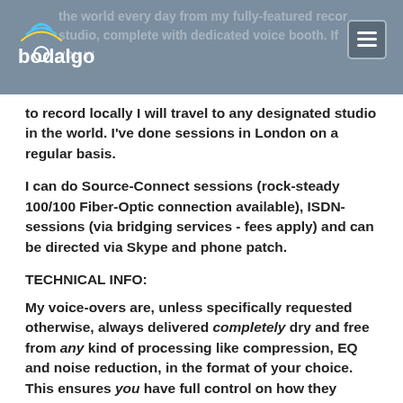[Figure (logo): Bodalgo logo with wave icon in top-left of grey header bar]
the world every day from my fully-featured recording studio, complete with dedicated voice booth. If you want to record locally I will travel to any designated studio in the world. I've done sessions in London on a regular basis.
I can do Source-Connect sessions (rock-steady 100/100 Fiber-Optic connection available), ISDN-sessions (via bridging services - fees apply) and can be directed via Skype and phone patch.
TECHNICAL INFO:
My voice-overs are, unless specifically requested otherwise, always delivered completely dry and free from any kind of processing like compression, EQ and noise reduction, in the format of your choice. This ensures you have full control on how they should sound on your final production.